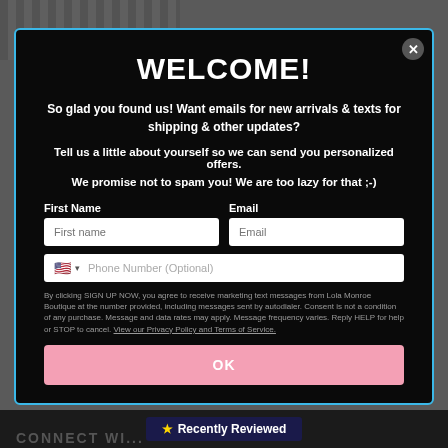WELCOME!
So glad you found us! Want emails for new arrivals & texts for shipping & other updates?
Tell us a little about yourself so we can send you personalized offers.
We promise not to spam you! We are too lazy for that ;-)
First Name
Email
Phone Number (Optional)
By clicking SIGN UP NOW, you agree to receive marketing text messages from Lola Monroe Boutique at the number provided, including messages sent by autodialer. Consent is not a condition of any purchase. Message and data rates may apply. Message frequency varies. Reply HELP for help or STOP to cancel. View our Privacy Policy and Terms of Service.
OK
★ Recently Reviewed
CONNECT WI...